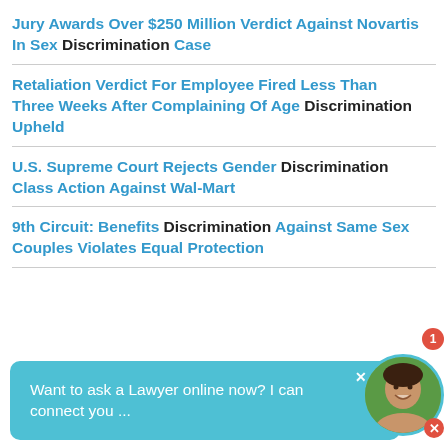Jury Awards Over $250 Million Verdict Against Novartis In Sex Discrimination Case
Retaliation Verdict For Employee Fired Less Than Three Weeks After Complaining Of Age Discrimination Upheld
U.S. Supreme Court Rejects Gender Discrimination Class Action Against Wal-Mart
9th Circuit: Benefits Discrimination Against Same Sex Couples Violates Equal Protection
[Figure (other): Chat widget overlay: teal bubble with text 'Want to ask a Lawyer online now? I can connect you ...' with close button, and a circular avatar photo of a woman with a red notification badge showing '1' and a red close button.]